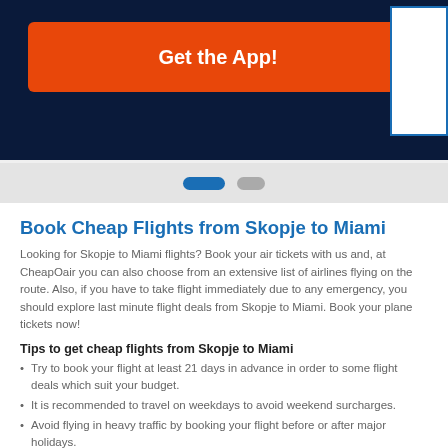[Figure (screenshot): Top banner with dark navy background containing an orange 'Get the App!' button and a white box with blue border on the right side]
[Figure (other): Carousel navigation dots: one active blue elongated dot and one inactive gray dot]
Book Cheap Flights from Skopje to Miami
Looking for Skopje to Miami flights? Book your air tickets with us and, at CheapOair you can also choose from an extensive list of airlines flying on the route. Also, if you have to take flight immediately due to any emergency, you should explore last minute flight deals from Skopje to Miami. Book your plane tickets now!
Tips to get cheap flights from Skopje to Miami
Try to book your flight at least 21 days in advance in order to some flight deals which suit your budget.
It is recommended to travel on weekdays to avoid weekend surcharges.
Avoid flying in heavy traffic by booking your flight before or after major holidays.
Check flexible travel dates to find the best flight deal.